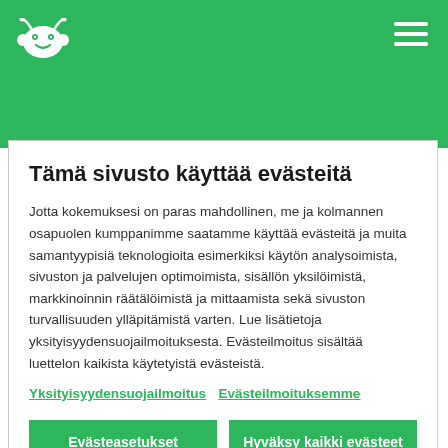[Figure (logo): SurveyMonkey logo in white on green background, top left]
Tämä sivusto käyttää evästeitä
Jotta kokemuksesi on paras mahdollinen, me ja kolmannen osapuolen kumppanimme saatamme käyttää evästeitä ja muita samantyypisiä teknologioita esimerkiksi käytön analysoimista, sivuston ja palvelujen optimoimista, sisällön yksilöimistä, markkinoinnin räätälöimistä ja mittaamista sekä sivuston turvallisuuden ylläpitämistä varten. Lue lisätietoja yksityisyydensuojailmoituksesta. Evästeilmoitus sisältää luettelon kaikista käytetyistä evästeistä.
Yksityisyydensuojailmoitus Evästeilmoituksemme
Evästeasetukset
Hyväksy kaikki evästeet